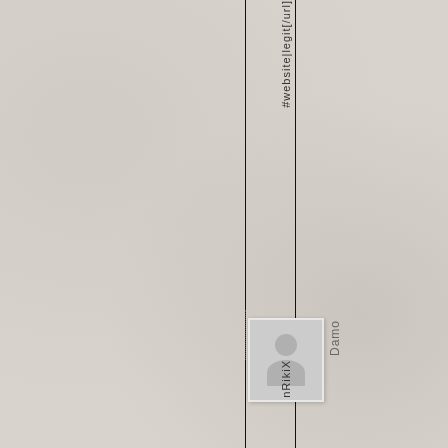#website|legit[/url]
[Figure (illustration): Generic user avatar placeholder — gray silhouette of a person on a light gray background with white border]
Damo
nRikiX